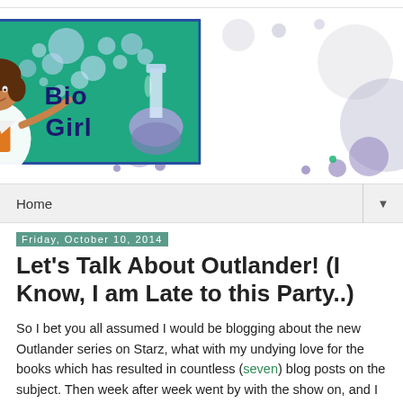[Figure (logo): Bio Girl blog logo banner with illustrated female scientist in lab coat, teal background with bubbles and lab flask, 'Bio Girl' text in dark blue]
Home ▼
Friday, October 10, 2014
Let's Talk About Outlander! (I Know, I am Late to this Party..)
So I bet you all assumed I would be blogging about the new Outlander series on Starz, what with my undying love for the books which has resulted in countless (seven) blog posts on the subject. Then week after week went by with the show on, and I said nothing.  I feel as if I have let you all down. I